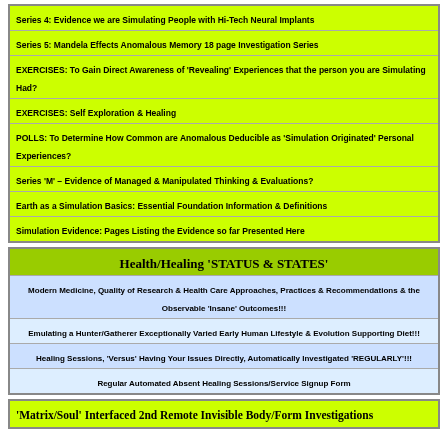Series 4: Evidence we are Simulating People with Hi-Tech Neural Implants
Series 5: Mandela Effects Anomalous Memory 18 page Investigation Series
EXERCISES: To Gain Direct Awareness of 'Revealing' Experiences that the person you are Simulating Had?
EXERCISES: Self Exploration & Healing
POLLS: To Determine How Common are Anomalous Deducible as 'Simulation Originated' Personal Experiences?
Series 'M' – Evidence of Managed & Manipulated Thinking & Evaluations?
Earth as a Simulation Basics: Essential Foundation Information & Definitions
Simulation Evidence: Pages Listing the Evidence so far Presented Here
Health/Healing 'STATUS & STATES'
Modern Medicine, Quality of Research & Health Care Approaches, Practices & Recommendations & the Observable 'Insane' Outcomes!!!
Emulating a Hunter/Gatherer Exceptionally Varied Early Human Lifestyle & Evolution Supporting Diet!!!
Healing Sessions, 'Versus' Having Your Issues Directly, Automatically Investigated 'REGULARLY'!!!
Regular Automated Absent Healing Sessions/Service Signup Form
'Matrix/Soul' Interfaced 2nd Remote Invisible Body/Form Investigations